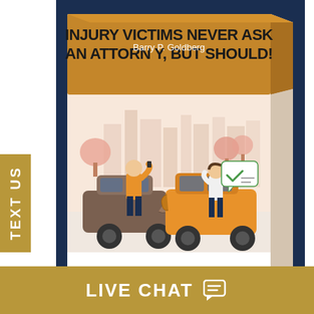[Figure (illustration): Book cover illustration showing a car accident scene with two cars collided, a person in orange jacket standing by a dark SUV gesturing on phone, and a woman in white standing by an orange sedan. City skyline and trees in the background. Book title reads: INJURY VICTIMS NEVER ASK AN ATTORNEY, BUT SHOULD! Author: Barry P. Goldberg. Book is displayed in 3D perspective on a dark navy background.]
GET YOUR TOUGH QUESTION GUIDE NOW!
CLAIM NOW
TEXT US
LIVE CHAT